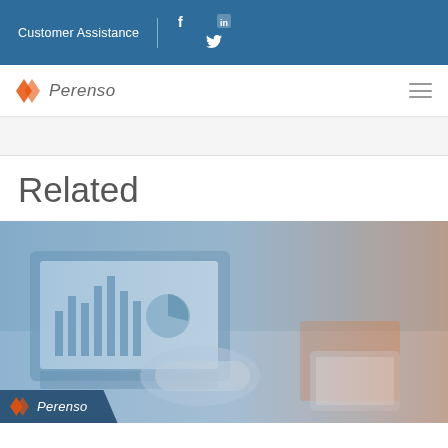Customer Assistance
[Figure (logo): Perenso logo with navigation bar]
Related
[Figure (photo): Business people shaking hands over a desk with laptop showing charts and a tablet, blue and orange gradient overlay, Perenso logo overlay at bottom left]